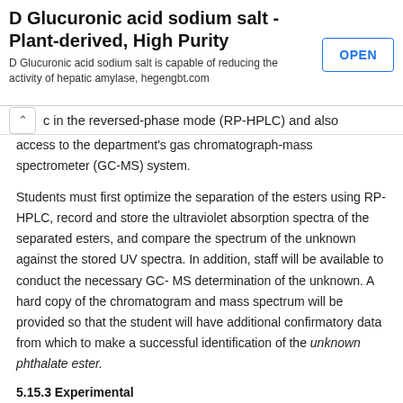D Glucuronic acid sodium salt - Plant-derived, High Purity
D Glucuronic acid sodium salt is capable of reducing the activity of hepatic amylase, hegengbt.com
c in the reversed-phase mode (RP-HPLC) and also access to the department's gas chromatograph-mass spectrometer (GC-MS) system.
Students must first optimize the separation of the esters using RP-HPLC, record and store the ultraviolet absorption spectra of the separated esters, and compare the spectrum of the unknown against the stored UV spectra. In addition, staff will be available to conduct the necessary GC- MS determination of the unknown. A hard copy of the chromatogram and mass spectrum will be provided so that the student will have additional confirmatory data from which to make a successful identification of the unknown phthalate ester.
5.15.3 Experimental